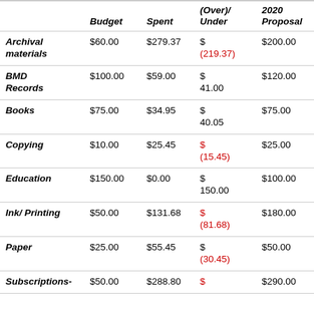|  | Budget | Spent | (Over)/ Under | 2020 Proposal |
| --- | --- | --- | --- | --- |
| Archival materials | $60.00 | $279.37 | $ (219.37) | $200.00 |
| BMD Records | $100.00 | $59.00 | $ 41.00 | $120.00 |
| Books | $75.00 | $34.95 | $ 40.05 | $75.00 |
| Copying | $10.00 | $25.45 | $ (15.45) | $25.00 |
| Education | $150.00 | $0.00 | $ 150.00 | $100.00 |
| Ink/ Printing | $50.00 | $131.68 | $ (81.68) | $180.00 |
| Paper | $25.00 | $55.45 | $ (30.45) | $50.00 |
| Subscriptions- | $50.00 | $288.80 | $ | $290.00 |